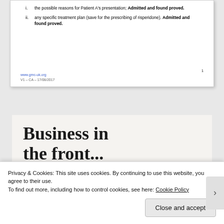[Figure (screenshot): Partial screenshot of a legal document with numbered list items. Item i: 'the possible reasons for Patient A's presentation; Admitted and found proved.' Item ii: 'any specific treatment plan (save for the prescribing of risperidone). Admitted and found proved.' Footer shows www.gmc-uk.org, V1 - CA - 17/08/2017, and page number 1.]
[Figure (screenshot): WordPress advertisement banner. Top section on light background reads 'Business in the front...' in large bold serif font. Bottom section on orange/peach gradient background reads 'WordPress in the back.' in large bold serif font, with WP logo partially visible at bottom.]
Privacy & Cookies: This site uses cookies. By continuing to use this website, you agree to their use.
To find out more, including how to control cookies, see here: Cookie Policy